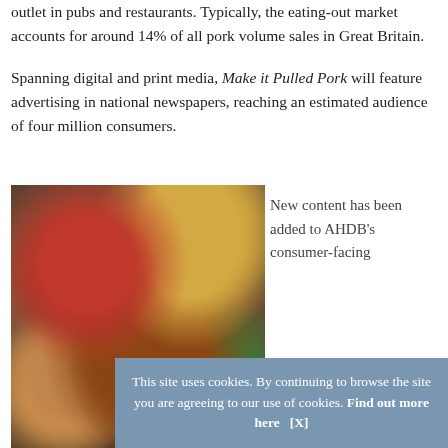outlet in pubs and restaurants. Typically, the eating-out market accounts for around 14% of all pork volume sales in Great Britain.
Spanning digital and print media, Make it Pulled Pork will feature advertising in national newspapers, reaching an estimated audience of four million consumers.
[Figure (photo): Overhead food photograph showing a pulled pork roast with accompaniments including a bowl of cranberry/red sauce, roasted potatoes, grilled plums/peaches, and green vegetables on a dark tray.]
New content has been added to AHDB's consumer-facing
This site uses cookies. By continuing to browse the site you are agreeing to our use of cookies. Find out more here   [X]